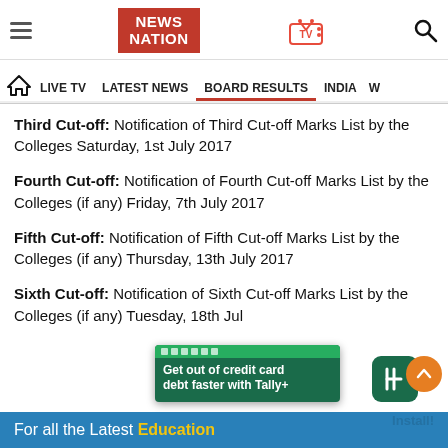[Figure (screenshot): News Nation website header with logo, TV icon, hamburger menu, and search icon]
NEWS NATION | LIVE TV | LATEST NEWS | BOARD RESULTS | INDIA | W
Third Cut-off: Notification of Third Cut-off Marks List by the Colleges Saturday, 1st July 2017
Fourth Cut-off: Notification of Fourth Cut-off Marks List by the Colleges (if any) Friday, 7th July 2017
Fifth Cut-off: Notification of Fifth Cut-off Marks List by the Colleges (if any) Thursday, 13th July 2017
Sixth Cut-off: Notification of Sixth Cut-off Marks List by the Colleges (if any) Tuesday, 18th July...
For all the Latest Education ...